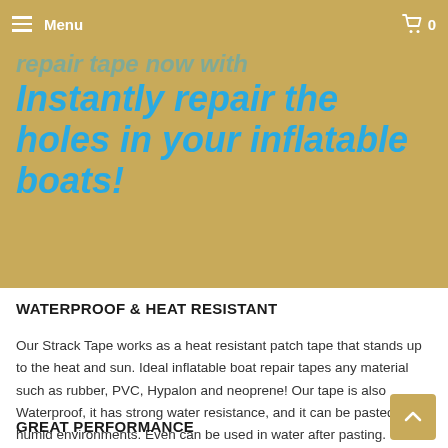Menu  0
Instantly repair the holes in your inflatable boats!
WATERPROOF & HEAT RESISTANT
Our Strack Tape works as a heat resistant patch tape that stands up to the heat and sun. Ideal inflatable boat repair tapes any material such as rubber, PVC, Hypalon and neoprene! Our tape is also Waterproof, it has strong water resistance, and it can be pasted in humid environments. Even can be used in water after pasting.
GREAT PERFORMANCE